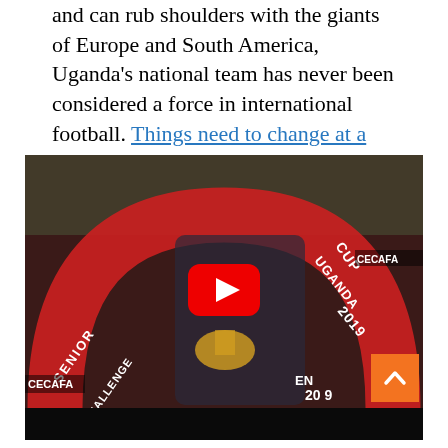and can rub shoulders with the giants of Europe and South America, Uganda's national team has never been considered a force in international football. Things need to change at a grassroots level if the country is to compete with the big guns.
[Figure (screenshot): YouTube video thumbnail from Africa News channel showing 'Uganda sacks national team coa...' with a man in a black suit holding a trophy in front of a CECAFA Senior Challenge Cup Uganda 2019 arch banner. A large red YouTube play button is overlaid in the center. An orange scroll-to-top arrow button is in the bottom right corner.]